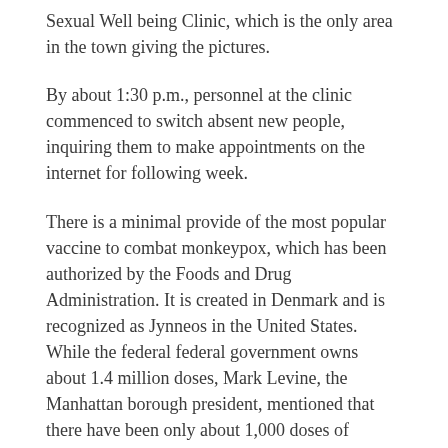Sexual Well being Clinic, which is the only area in the town giving the pictures.
By about 1:30 p.m., personnel at the clinic commenced to switch absent new people, inquiring them to make appointments on the internet for following week.
There is a minimal provide of the most popular vaccine to combat monkeypox, which has been authorized by the Foods and Drug Administration. It is created in Denmark and is recognized as Jynneos in the United States. While the federal federal government owns about 1.4 million doses, Mark Levine, the Manhattan borough president, mentioned that there have been only about 1,000 doses of vaccine on hand for the city's people.
“The demand from customers we’re seeing right now is even more proof of how proactive the L.G.B.T.Q.+ community —